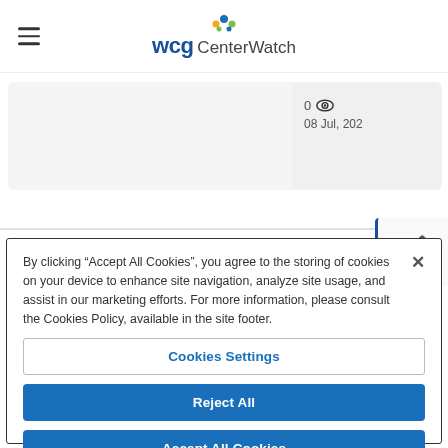WCG CenterWatch
[Figure (screenshot): Card row showing a content item with 0 views and date 08 Jul, 202]
[Figure (screenshot): Edit/pencil icon button on the right side]
By clicking “Accept All Cookies”, you agree to the storing of cookies on your device to enhance site navigation, analyze site usage, and assist in our marketing efforts. For more information, please consult the Cookies Policy, available in the site footer.
Cookies Settings
Reject All
Accept All Cookies